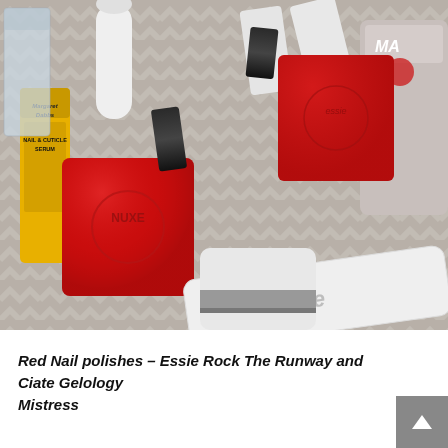[Figure (photo): Close-up photo of several nail polish bottles and beauty products arranged on a grey chevron-patterned surface. Visible products include a yellow Margaret Dabbs Nail & Cuticle Serum, two red nail polish bottles (Ciate Gelology Mistress and Essie Rock The Runway), a large white Essie bottle lying on its side, a Mavala branded bottle, a clear bottle, and other white roll-on or polish bottles.]
Red Nail polishes – Essie Rock The Runway and Ciate Gelology Mistress